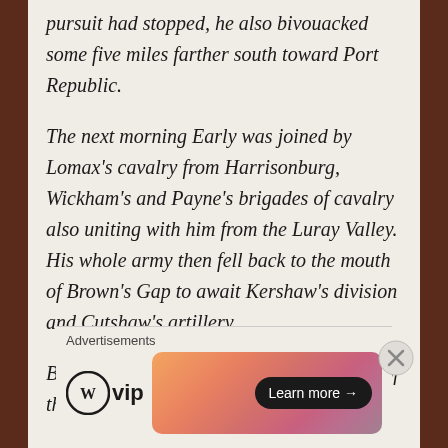pursuit had stopped, he also bivouacked some five miles farther south toward Port Republic.
The next morning Early was joined by Lomax's cavalry from Harrisonburg, Wickham's and Payne's brigades of cavalry also uniting with him from the Luray Valley. His whole army then fell back to the mouth of Brown's Gap to await Kershaw's division and Cutshaw's artillery….
By the morning of the 25th the main body of the enemy had disappeared
[Figure (other): WordPress VIP logo and advertisement banner with gradient background and 'Learn more' button]